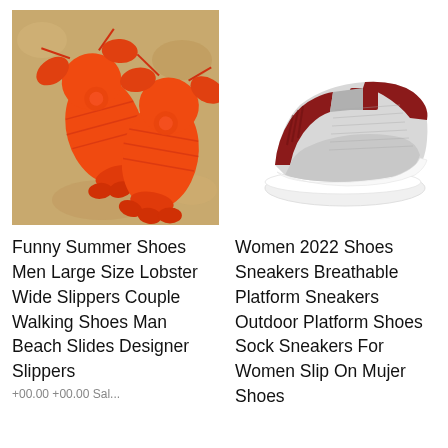[Figure (photo): Lobster-shaped orange rubber/plastic sandal slippers lying on sand background, two slippers visible from above]
[Figure (photo): Women's knit sock sneaker in dark red and grey/white striped pattern with white sole, side view on white background]
Funny Summer Shoes Men Large Size Lobster Wide Slippers Couple Walking Shoes Man Beach Slides Designer Slippers
Women 2022 Shoes Sneakers Breathable Platform Sneakers Outdoor Platform Shoes Sock Sneakers For Women Slip On Mujer Shoes